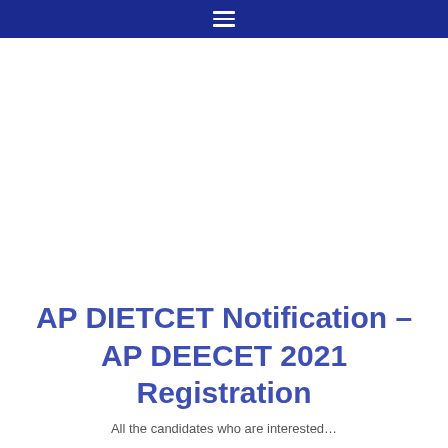☰
AP DIETCET Notification – AP DEECET 2021 Registration
All the candidates who are interested…